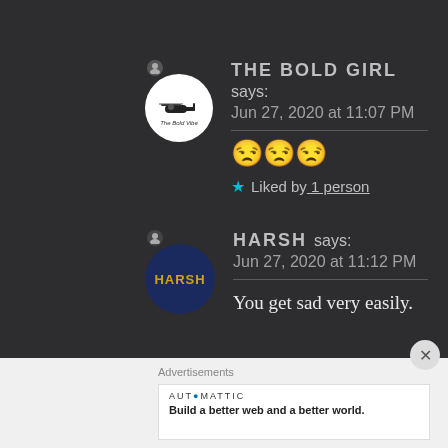THE BOLD GIRL says:
Jun 27, 2020 at 11:07 PM
😒😒😒
★ Liked by 1 person
HARSH says:
Jun 27, 2020 at 11:12 PM
You get sad very easily.
Advertisements
AUTOMATTIC
Build a better web and a better world.